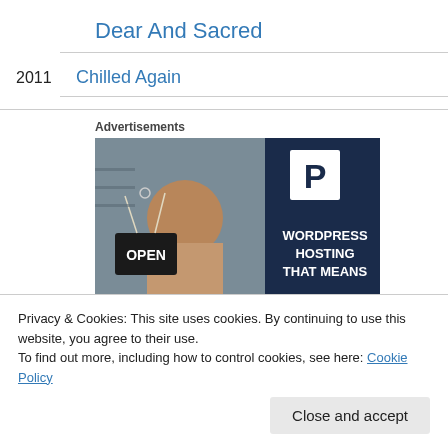Dear And Sacred
2011   Chilled Again
[Figure (photo): Advertisement banner showing a woman smiling holding an 'OPEN' sign at a storefront, with a dark blue panel on the right showing a 'P' logo and text 'WORDPRESS HOSTING THAT MEANS']
Advertisements
Privacy & Cookies: This site uses cookies. By continuing to use this website, you agree to their use.
To find out more, including how to control cookies, see here: Cookie Policy
Close and accept